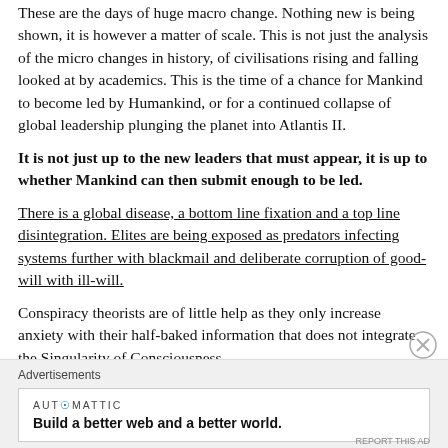These are the days of huge macro change. Nothing new is being shown, it is however a matter of scale. This is not just the analysis of the micro changes in history, of civilisations rising and falling looked at by academics. This is the time of a chance for Mankind to become led by Humankind, or for a continued collapse of global leadership plunging the planet into Atlantis II.
It is not just up to the new leaders that must appear, it is up to whether Mankind can then submit enough to be led.
There is a global disease, a bottom line fixation and a top line disintegration. Elites are being exposed as predators infecting systems further with blackmail and deliberate corruption of good-will with ill-will.
Conspiracy theorists are of little help as they only increase anxiety with their half-baked information that does not integrate the Singularity of Consciousness.
Advertisements
AUTOMATTIC
Build a better web and a better world.